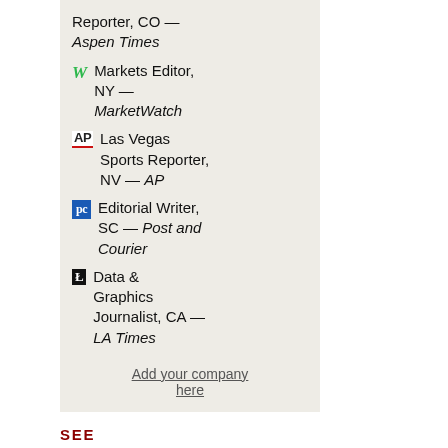Reporter, CO — Aspen Times
Markets Editor, NY — MarketWatch
Las Vegas Sports Reporter, NV — AP
Editorial Writer, SC — Post and Courier
Data & Graphics Journalist, CA — LA Times
Add your company here
SEE ALSO:
Mediagazer: site main